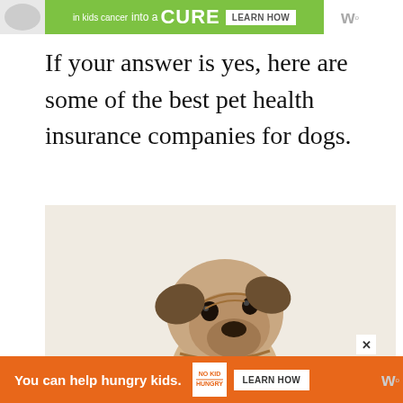[Figure (other): Green advertisement banner at top: 'into a CURE LEARN HOW' with green background and white text]
If your answer is yes, here are some of the best pet health insurance companies for dogs.
[Figure (photo): Photo of a pug dog sitting upright against a light beige/cream background, looking upward to the right]
[Figure (other): Orange advertisement banner at bottom: 'You can help hungry kids. NO KID HUNGRY LEARN HOW' with close button and logo]